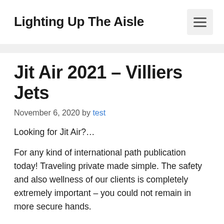Lighting Up The Aisle
Jit Air 2021 – Villiers Jets
November 6, 2020 by test
Looking for Jit Air?…
For any kind of international path publication today! Traveling private made simple. The safety and also wellness of our clients is completely extremely important – you could not remain in more secure hands.